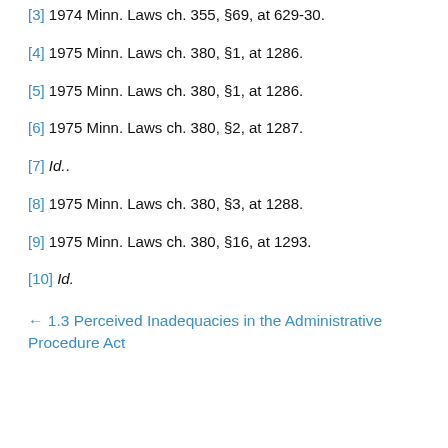[3] 1974 Minn. Laws ch. 355, §69, at 629-30.
[4] 1975 Minn. Laws ch. 380, §1, at 1286.
[5] 1975 Minn. Laws ch. 380, §1, at 1286.
[6] 1975 Minn. Laws ch. 380, §2, at 1287.
[7] Id..
[8] 1975 Minn. Laws ch. 380, §3, at 1288.
[9] 1975 Minn. Laws ch. 380, §16, at 1293.
[10] Id.
← 1.3 Perceived Inadequacies in the Administrative Procedure Act